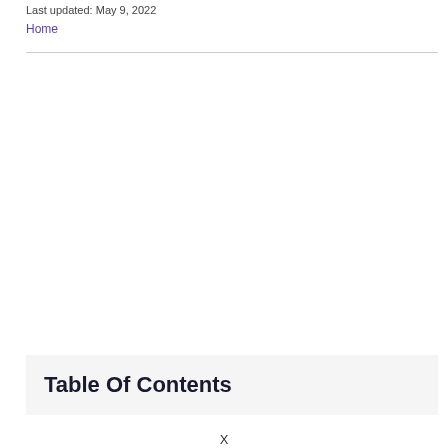Last updated: May 9, 2022
Home
Table Of Contents